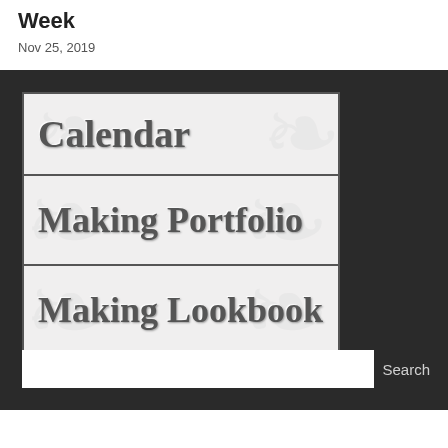Week
Nov 25, 2019
[Figure (screenshot): Navigation menu with three decorative buttons on dark background: Calendar, Making Portfolio, Making Lookbook]
Search